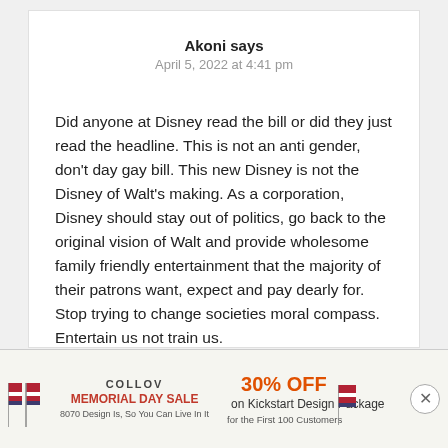Akoni says
April 5, 2022 at 4:41 pm
Did anyone at Disney read the bill or did they just read the headline. This is not an anti gender, don’t day gay bill. This new Disney is not the Disney of Walt’s making. As a corporation, Disney should stay out of politics, go back to the original vision of Walt and provide wholesome family friendly entertainment that the majority of their patrons want, expect and pay dearly for. Stop trying to change societies moral compass. Entertain us not train us.
[Figure (infographic): COLLOV MEMORIAL DAY SALE advertisement banner with 30% OFF on Kickstart Design Package for First 100 Customers]